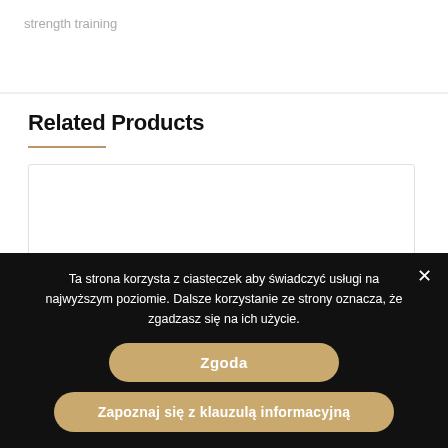strength training
Related Products
[Figure (other): Empty white product card placeholder in related products section]
Ta strona korzysta z ciasteczek aby świadczyć usługi na najwyższym poziomie. Dalsze korzystanie ze strony oznacza, że zgadzasz się na ich użycie.
Zgoda
Zapoznaj się z klauzulą informacyjną